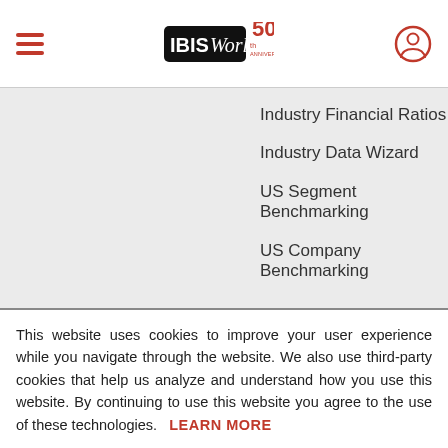IBISWorld 50th Anniversary
Industry Financial Ratios
Industry Data Wizard
US Segment Benchmarking
US Company Benchmarking
This website uses cookies to improve your user experience while you navigate through the website. We also use third-party cookies that help us analyze and understand how you use this website. By continuing to use this website you agree to the use of these technologies. LEARN MORE
ACCEPT